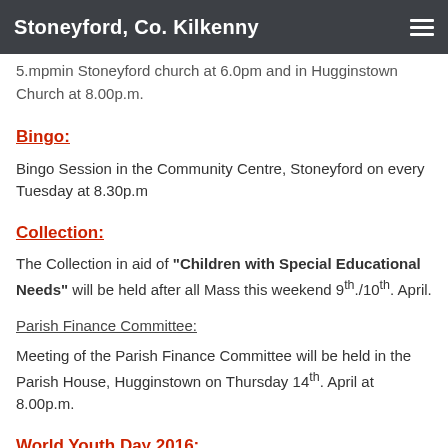Stoneyford, Co. Kilkenny
5.mpmin Stoneyford Church at 6.0pm and in Hugginstown Church at 8.00p.m.
Bingo:
Bingo Session in the Community Centre, Stoneyford on every Tuesday at 8.30p.m
Collection:
The Collection in aid of “Children with Special Educational Needs” will be held after all Mass this weekend 9th./10th. April.
Parish Finance Committee:
Meeting of the Parish Finance Committee will be held in the Parish House, Hugginstown on Thursday 14th. April at 8.00p.m.
World Youth Day 2016:
World Youth Day will be celebrated in Krakow from the 25th. to 31st.